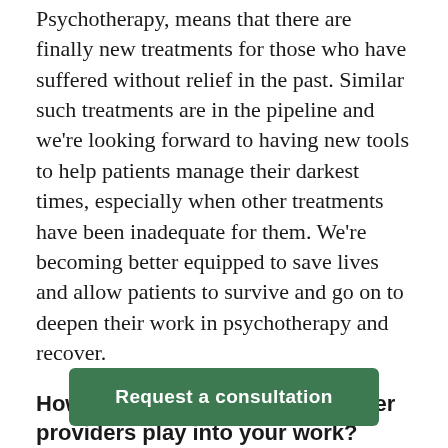Psychotherapy, means that there are finally new treatments for those who have suffered without relief in the past. Similar such treatments are in the pipeline and we're looking forward to having new tools to help patients manage their darkest times, especially when other treatments have been inadequate for them. We're becoming better equipped to save lives and allow patients to survive and go on to deepen their work in psychotherapy and recover.
How does collaboration with other providers play into your work?
Request a consultation